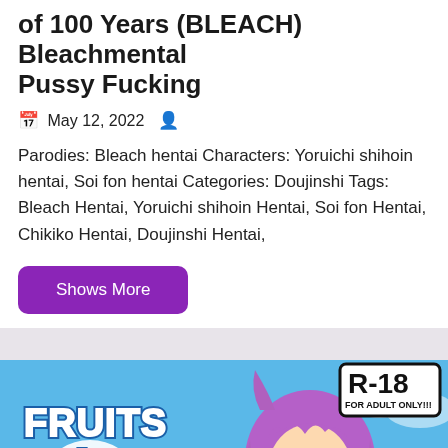of 100 Years (BLEACH) Bleachmental Pussy Fucking
May 12, 2022
Parodies: Bleach hentai Characters: Yoruichi shihoin hentai, Soi fon hentai Categories: Doujinshi Tags: Bleach Hentai, Yoruichi shihoin Hentai, Soi fon Hentai, Chikiko Hentai, Doujinshi Hentai,
Shows More
[Figure (illustration): Anime illustration - FRUITS CLIPPER! manga cover with R-18 FOR ADULT ONLY!!! badge, showing anime character with purple hair and yellow hibiscus flower on blue sky background]